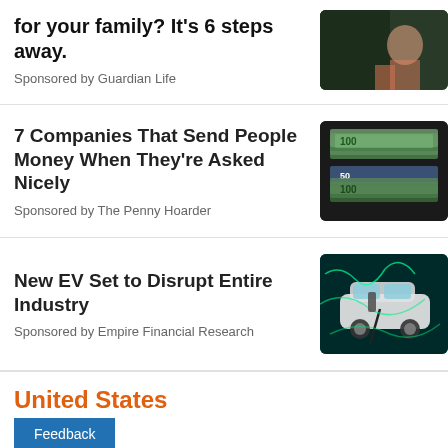for your family? It's 6 steps away.
Sponsored by Guardian Life
7 Companies That Send People Money When They're Asked Nicely
Sponsored by The Penny Hoarder
[Figure (photo): Stacks of US dollar bills (50s and 100s)]
New EV Set to Disrupt Entire Industry
Sponsored by Empire Financial Research
[Figure (photo): Electric vehicle charging with green glowing energy lines]
United States
Feedback